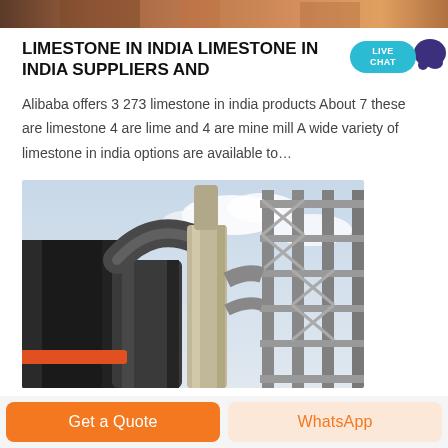[Figure (photo): Top partial photo of an industrial/mining scene, cropped at page top]
LIMESTONE IN INDIA LIMESTONE IN INDIA SUPPLIERS AND
Alibaba offers 3 273 limestone in india products About 7 these are limestone 4 are lime and 4 are mine mill A wide variety of limestone in india options are available to…
[Figure (photo): Industrial facility photo showing large pipes, ductwork, and metal scaffolding structures at a limestone processing plant]
Get a Quote
WhatsApp